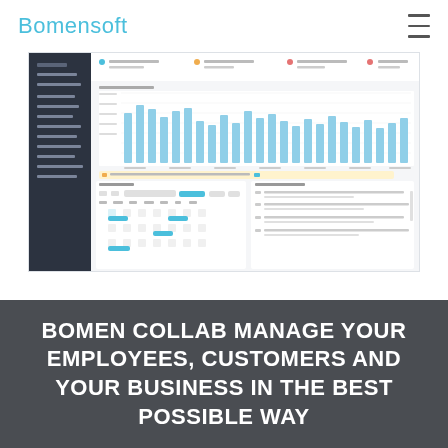Bomensoft
[Figure (screenshot): Screenshot of Bomensoft Collab dashboard showing a bar chart of recent earnings, a calendar for December 2014, and a new tickets panel with a dark sidebar navigation on the left.]
BOMEN COLLAB MANAGE YOUR EMPLOYEES, CUSTOMERS AND YOUR BUSINESS IN THE BEST POSSIBLE WAY